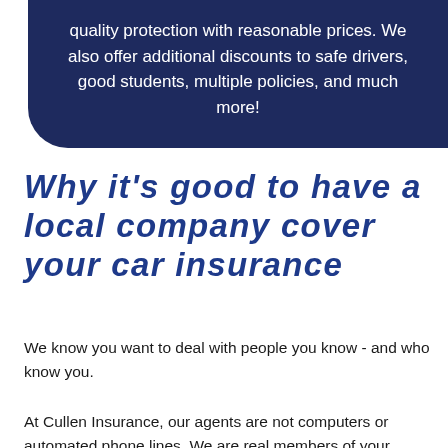quality protection with reasonable prices. We also offer additional discounts to safe drivers, good students, multiple policies, and much more!
Why it's good to have a local company cover your car insurance
We know you want to deal with people you know - and who know you.
At Cullen Insurance, our agents are not computers or automated phone lines. We are real members of your